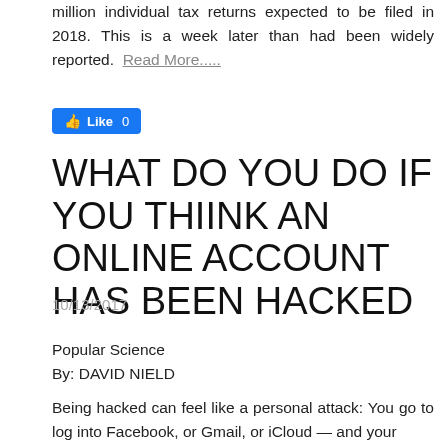million individual tax returns expected to be filed in 2018. This is a week later than had been widely reported. Read More.....
[Figure (other): Facebook Like button showing 'Like 0']
WHAT DO YOU DO IF YOU THIINK AN ONLINE ACCOUNT HAS BEEN HACKED
10/13/2017
Popular Science
By: DAVID NIELD
Being hacked can feel like a personal attack: You go to log into Facebook, or Gmail, or iCloud — and your